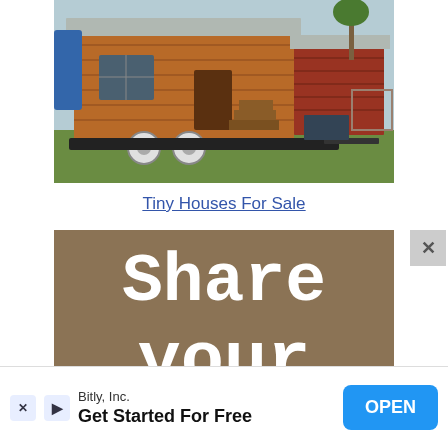[Figure (photo): A small wooden tiny house on wheels with a metal roof, wooden steps, and dual wheels, parked on grass with trees and fencing in the background.]
Tiny Houses For Sale
[Figure (infographic): Brown/tan banner with large white text reading 'Share' and below it 'your' in a slab-serif/monospace style font.]
Bitly, Inc.
Get Started For Free